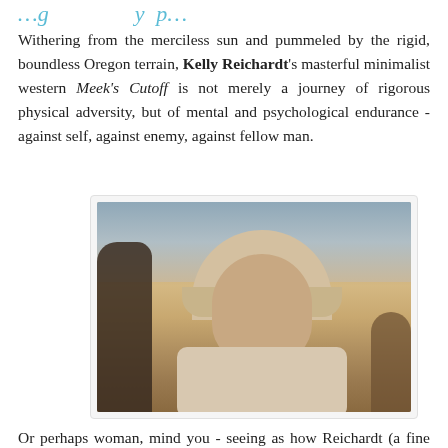…g…y p…
Withering from the merciless sun and pummeled by the rigid, boundless Oregon terrain, Kelly Reichardt's masterful minimalist western Meek's Cutoff is not merely a journey of rigorous physical adversity, but of mental and psychological endurance - against self, against enemy, against fellow man.
[Figure (photo): Film still from Meek's Cutoff showing a woman wearing a pioneer bonnet in a dry desert landscape with other figures partially visible]
Or perhaps woman, mind you - seeing as how Reichardt (a fine female director who found prominence with 2008's Wendy and Lucy) frames the film around the tireless and progressively catty Emily Tethrow (Michelle Williams) whose denunciation of the